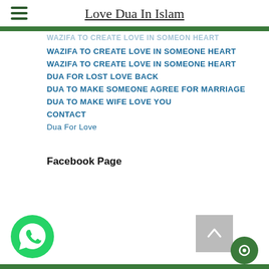Love Dua In Islam
WAZIFA TO CREATE LOVE IN SOMEONE HEART
WAZIFA TO CREATE LOVE IN SOMEONE HEART
DUA FOR LOST LOVE BACK
DUA TO MAKE SOMEONE AGREE FOR MARRIAGE
DUA TO MAKE WIFE LOVE YOU
CONTACT
Dua For Love
Facebook Page